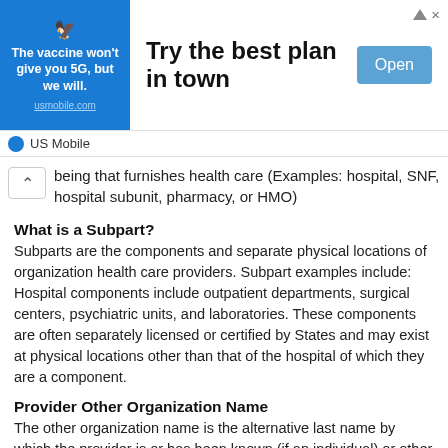[Figure (other): Advertisement banner for US Mobile. Blue left panel with eagle logo and tagline 'The vaccine won't give you 5G, but we will.' and url usmobile.com. Right panel shows 'Try the best plan in town' with an Open button. Close X in top right.]
US Mobile
being that furnishes health care (Examples: hospital, SNF, hospital subunit, pharmacy, or HMO)
What is a Subpart?
Subparts are the components and separate physical locations of organization health care providers. Subpart examples include: Hospital components include outpatient departments, surgical centers, psychiatric units, and laboratories. These components are often separately licensed or certified by States and may exist at physical locations other than that of the hospital of which they are a component.
Provider Other Organization Name
The other organization name is the alternative last name by which the provider is or has been known (if an individual) or other name by which the organization provider is or has been known. The code identifying the type of other name. The provider other organization name codes are:
1 = former name;